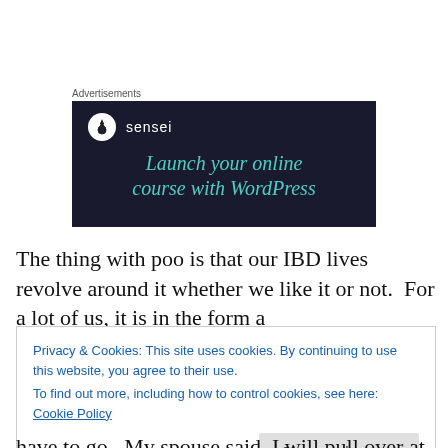Advertisements
[Figure (illustration): Advertisement banner with dark navy background showing the Sensei brand logo (tree icon in white circle) and brand name 'sensei', with teal italic text reading 'Launch your online course with WordPress']
The thing with poo is that our IBD lives revolve around it whether we like it or not.  For a lot of us, it is in the form a
Privacy & Cookies: This site uses cookies. By continuing to use this website, you agree to their use.
To find out more, including how to control cookies, see here: Cookie Policy
Close and accept
have to go.  My spouse said, I will pull over at the next